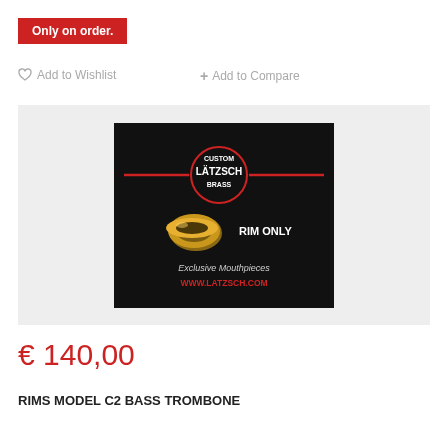Only on order.
♡ Add to Wishlist
+ Add to Compare
[Figure (photo): Lätzsch Custom Brass mouthpiece rim only product image on black background with red horizontal lines and logo, text 'RIM ONLY', 'Exclusive Mouthpieces', 'WWW.LATZSCH.COM']
€ 140,00
RIMS MODEL C2 BASS TROMBONE